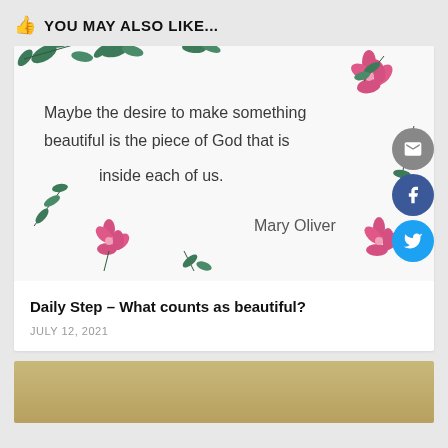YOU MAY ALSO LIKE...
[Figure (illustration): Decorative quote image with floral border showing Mary Oliver quote: 'Maybe the desire to make something beautiful is the piece of God that is inside each of us.' with pink flowers and green leaves, and social share buttons (email, Facebook, Twitter) on the right side.]
Daily Step – What counts as beautiful?
JULY 12, 2021
[Figure (photo): Bottom teaser image - partial view showing warm golden/tan toned outdoor scene]